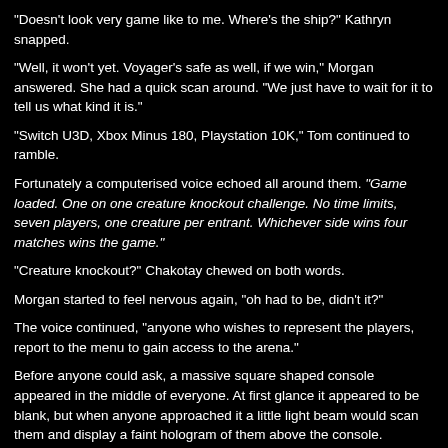"Doesn't look very game like to me. Where's the ship?" Kathryn snapped.
"Well, it won't yet. Voyager's safe as well, if we win," Morgan answered. She had a quick scan around. "We just have to wait for it to tell us what kind it is."
"Switch U3D, Xbox Minus 180, Playstation 10K," Tom continued to ramble.
Fortunately a computerised voice echoed all around them. "Game loaded. One on one creature knockout challenge. No time limits, seven players, one creature per entrant. Whichever side wins four matches wins the game."
"Creature knockout?" Chakotay chewed on both words.
Morgan started to feel nervous again, "oh had to be, didn't it?"
The voice continued, "anyone who wishes to represent the players, report to the menu to gain access to the arena."
Before anyone could ask, a massive square shaped console appeared in the middle of everyone. At first glance it appeared to be blank, but when anyone approached it a little light beam would scan them and display a faint hologram of them above the console. Naturally everyone near it backed away quickly.
Morgan and Tani headed over to it. "It's all right. We've seen this menu interface before," Tani said.